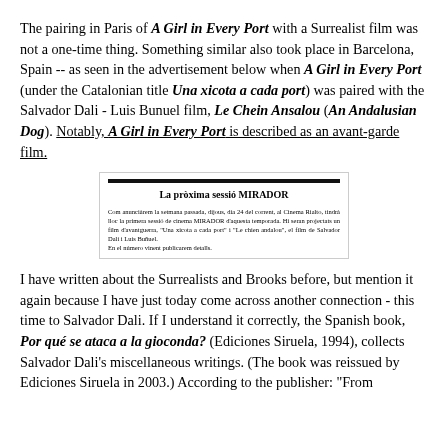The pairing in Paris of A Girl in Every Port with a Surrealist film was not a one-time thing. Something similar also took place in Barcelona, Spain -- as seen in the advertisement below when A Girl in Every Port (under the Catalonian title Una xicota a cada port) was paired with the Salvador Dali - Luis Bunuel film, Le Chein Ansalou (An Andalusian Dog). Notably, A Girl in Every Port is described as an avant-garde film.
[Figure (photo): Newspaper advertisement clipping in Catalan titled 'La pròxima sessió MIRADOR' announcing a cinema session at Cinema Rialto featuring 'Una xicota a cada port' and 'Le chien andalou' by Salvador Dali and Luis Buñuel.]
I have written about the Surrealists and Brooks before, but mention it again because I have just today come across another connection - this time to Salvador Dali. If I understand it correctly, the Spanish book, Por qué se ataca a la gioconda? (Ediciones Siruela, 1994), collects Salvador Dali's miscellaneous writings. (The book was reissued by Ediciones Siruela in 2003.) According to the publisher: "From